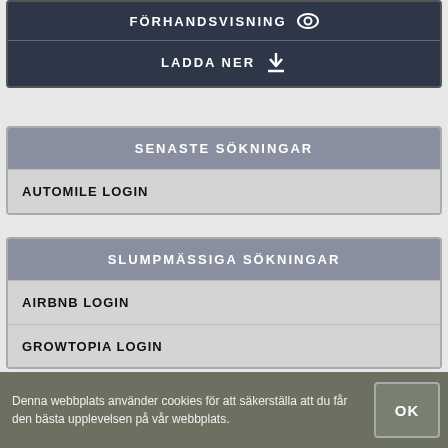[Figure (screenshot): Top dark panel with FÖRHANDSVISNING (eye icon) and LADDA NER (download icon) buttons]
SENASTE SÖKNINGAR
AUTOMILE LOGIN
SLUMPMÄSSIGA SÖKNINGAR
AIRBNB LOGIN
GROWTOPIA LOGIN
Denna webbplats använder cookies för att säkerställa att du får den bästa upplevelsen på vår webbplats.